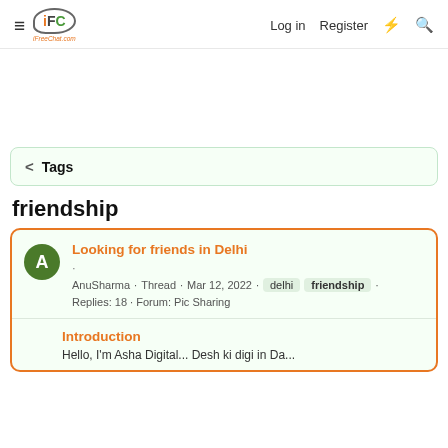≡  iFC  iFreeChat.com   Log in   Register   ⚡   🔍
< Tags
friendship
Looking for friends in Delhi
·
AnuSharma · Thread · Mar 12, 2022 · delhi · friendship ·
Replies: 18 · Forum: Pic Sharing
Introduction
Hello, I'm Asha Digital... Desh ki digi in Da...